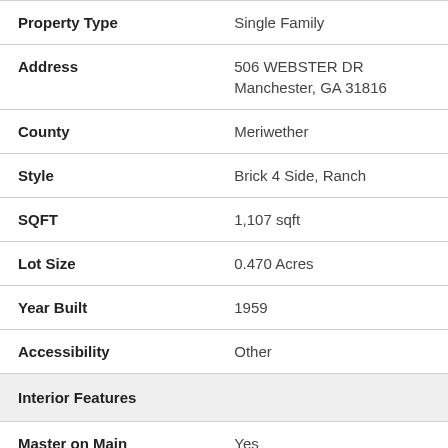| Field | Value |
| --- | --- |
| Property Type | Single Family |
| Address | 506 WEBSTER DR
Manchester, GA 31816 |
| County | Meriwether |
| Style | Brick 4 Side, Ranch |
| SQFT | 1,107 sqft |
| Lot Size | 0.470 Acres |
| Year Built | 1959 |
| Accessibility | Other |
| Interior Features |  |
| Master on Main | Yes |
| Laundry | Other |